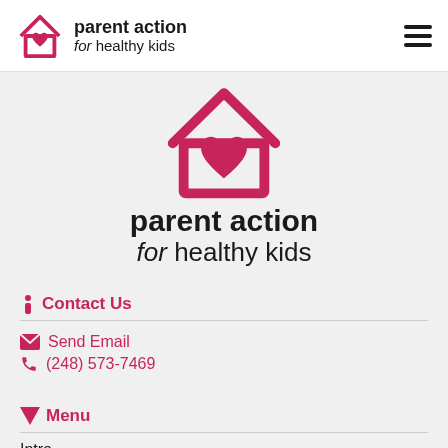[Figure (logo): Parent Action for Healthy Kids logo: house outline with heart inside, pink/crimson color]
parent action for healthy kids
Contact Us
Send Email
(248) 573-7469
Menu
Intro